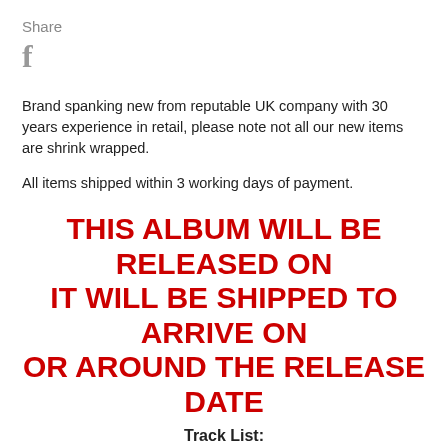Share
[Figure (logo): Facebook 'f' icon in gray]
Brand spanking new from reputable UK company with 30 years experience in retail, please note not all our new items are shrink wrapped.
All items shipped within 3 working days of payment.
THIS ALBUM WILL BE RELEASED ON IT WILL BE SHIPPED TO ARRIVE ON OR AROUND THE RELEASE DATE
Track List:
1. Run For Cover  by The Dells
2. The Temptations - Girl (Why You Wanna Make Me Blue)
3. Mary Wells - Drop In The Bucket
4. Martha Reeves and The Vandellas - Show Me The Way